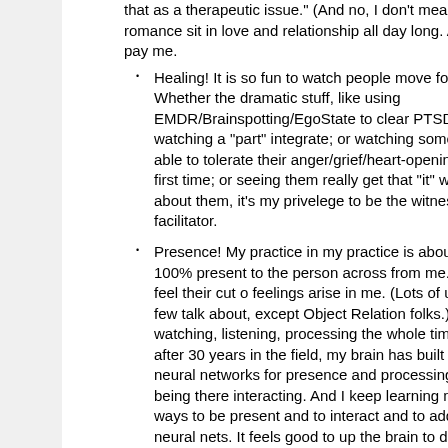that as a therapeutic issue." (And no, I don't mean romance sit in love and relationship all day long. And they pay me.
Healing! It is so fun to watch people move forward. Whether the dramatic stuff, like using EMDR/Brainspotting/EgoState to clear PTSD or watching a "part" integrate; or watching someone be able to tolerate their anger/grief/heart-opening very first time; or seeing them really get that "it" wasn't about them, it's my privelege to be the witness and facilitator.
Presence! My practice in my practice is about being 100% present to the person across from me. I can feel their cut o feelings arise in me. (Lots of us do it, few talk about, except Object Relation folks.) I'm watching, listening, processing the whole time. And after 30 years in the field, my brain has built huge neural networks for presence and processing and being there interacting. And I keep learning more ways to be present and to interact and to add to the neural nets. It feels good to up the brain to do the work.
Learning! There is something new to see in every person that walks into the office. I'm a mastery junkie, and I'm given new things to master every day that I work.
I'm 1/2 way through the editing process on the new book. Many chapters are a month late. Some are going through painful and even contentious rewrites. And while writing uses the therapy brain, and editing other people's chapters gives me a chance to learn new techniques and the actual line-by-line edits aren't as fun. And it's only vaguely related to rewrite someone's sentence, and somewhat emotionally risky. (Not everyone likes their sentences rewritten.) After 4 to 6 hours of editing